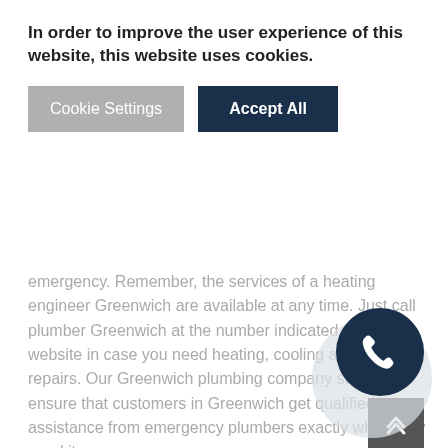In order to improve the user experience of this website, this website uses cookies.
Cookie Settings
Accept All
emergency. Remember, the services of a heating engineer Greenwich are available at any time. Just call plumber Greenwich at the number indicated on the website in case you need heating, cooling and plumbing repairs. Our Greenwich plumbing company strives to ensure that customers in Greenwich get qualified assistance from emergency plumbers exactly when they need it.
[Figure (photo): Person bending over a white bathroom sink with a chrome faucet, viewed from behind, working on plumbing.]